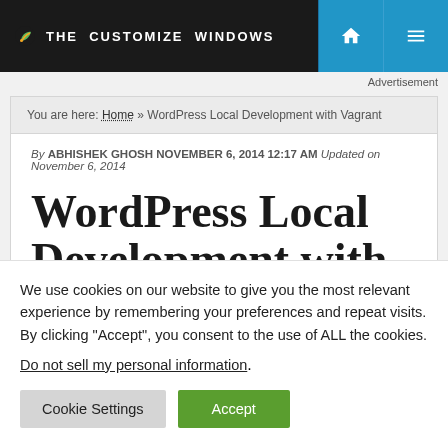THE CUSTOMIZE WINDOWS
Advertisement
You are here: Home » WordPress Local Development with Vagrant
By ABHISHEK GHOSH NOVEMBER 6, 2014 12:17 AM Updated on November 6, 2014
WordPress Local Development with
We use cookies on our website to give you the most relevant experience by remembering your preferences and repeat visits. By clicking "Accept", you consent to the use of ALL the cookies.
Do not sell my personal information.